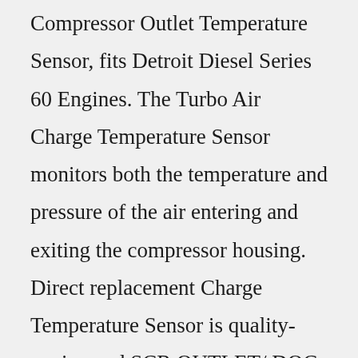Compressor Outlet Temperature Sensor, fits Detroit Diesel Series 60 Engines. The Turbo Air Charge Temperature Sensor monitors both the temperature and pressure of the air entering and exiting the compressor housing. Direct replacement Charge Temperature Sensor is quality-engineered SCR OUTLET/ DOC INLET TEMPERATURE SENSOR-DDE A6805401717. Rating Required. Name Email Required. Review Subject Required.